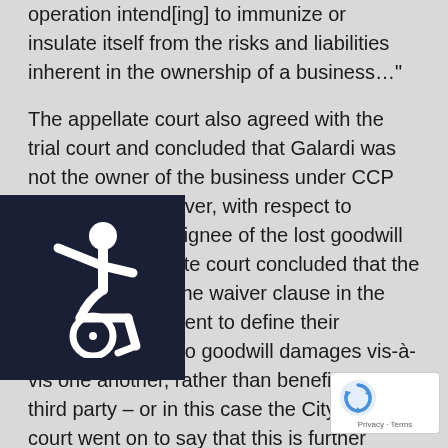operation intend[ing] to immunize or insulate itself from the risks and liabilities inherent in the ownership of a business…"
The appellate court also agreed with the trial court and concluded that Galardi was not the owner of the business under CCP §1263.510. However, with respect to Galardi as an assignee of the lost goodwill claim, the appellate court concluded that the parties intended the waiver clause in the operating agreement to define their respective rights to goodwill damages vis-à-vis one another, rather than benefiting a third party – or in this case the City. The court went on to say that this is further supported by the fact that in anticipation that Galardi might not be considered the owner of the business, Galardi the Operator executed the assignment, which action confirms that they did not believe
[Figure (illustration): Accessibility icon: white wheelchair user symbol on dark navy background]
[Figure (logo): reCAPTCHA badge with recycling arrows logo and Privacy · Terms text]